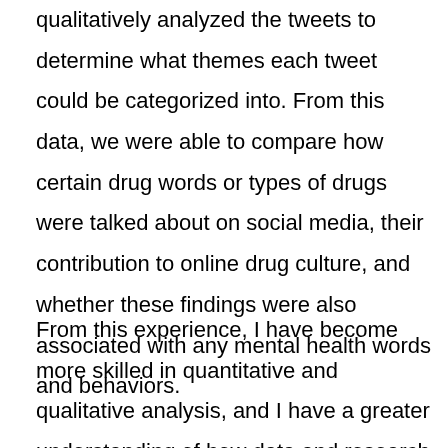qualitatively analyzed the tweets to determine what themes each tweet could be categorized into. From this data, we were able to compare how certain drug words or types of drugs were talked about on social media, their contribution to online drug culture, and whether these findings were also associated with any mental health words and behaviors.
From this experience, I have become more skilled in quantitative and qualitative analysis, and I have a greater understanding of how data and research findings can be used to improve community health